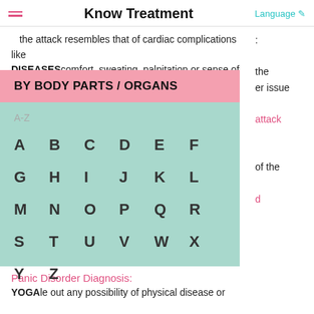Know Treatment
the attack resembles that of cardiac complications like DISEASES chest discomfort, sweating, palpitation or sense of
BY BODY PARTS / ORGANS
A-Z
A B C D E F
G H I J K L
M N O P Q R
S T U V W X
Y Z
the er issue attack of the d
Panic Disorder Diagnosis:
YOGA le out any possibility of physical disease or